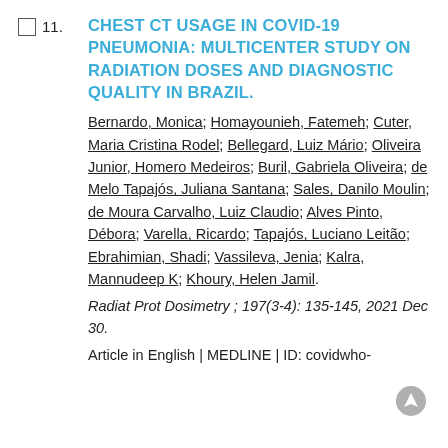CHEST CT USAGE IN COVID-19 PNEUMONIA: MULTICENTER STUDY ON RADIATION DOSES AND DIAGNOSTIC QUALITY IN BRAZIL.
Bernardo, Monica; Homayounieh, Fatemeh; Cuter, Maria Cristina Rodel; Bellegard, Luiz Mário; Oliveira Junior, Homero Medeiros; Buril, Gabriela Oliveira; de Melo Tapajós, Juliana Santana; Sales, Danilo Moulin; de Moura Carvalho, Luiz Claudio; Alves Pinto, Débora; Varella, Ricardo; Tapajós, Luciano Leitão; Ebrahimian, Shadi; Vassileva, Jenia; Kalra, Mannudeep K; Khoury, Helen Jamil.
Radiat Prot Dosimetry; 197(3-4): 135-145, 2021 Dec 30.
Article in English | MEDLINE | ID: covidwho-